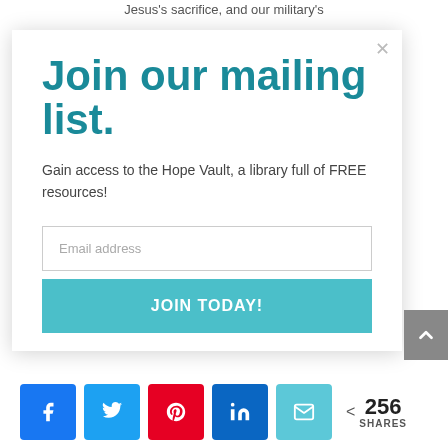Jesus's sacrifice, and our military's
Join our mailing list.
Gain access to the Hope Vault, a library full of FREE resources!
Email address
JOIN TODAY!
256 SHARES